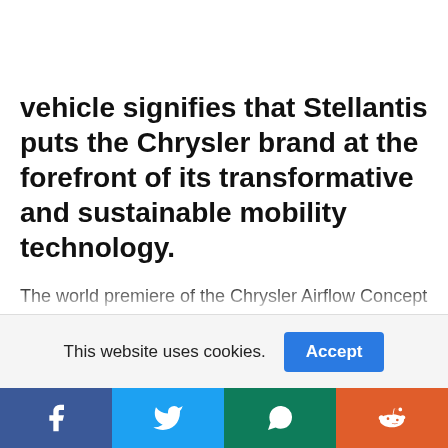vehicle signifies that Stellantis puts the Chrysler brand at the forefront of its transformative and sustainable mobility technology.
The world premiere of the Chrysler Airflow Concept has taken place today at the CES 2022. The vehicle represents the future direction of the Chrysler brand...
This website uses cookies.
[Figure (other): Social media share bar with Facebook, Twitter, WhatsApp, and Reddit icons]